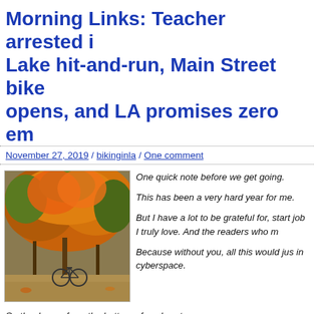Morning Links: Teacher arrested in Lake hit-and-run, Main Street bike opens, and LA promises zero em
November 27, 2019 / bikinginla / One comment
[Figure (photo): A bicycle parked on a path surrounded by vivid autumn foliage in orange, red, and green.]
One quick note before we get going.

This has been a very hard year for me.

But I have a lot to be grateful for, start job I truly love. And the readers who m

Because without you, all this would jus in cyberspace.
So thank you, from the bottom of my heart.
Have a warm and loving Thanksgiving, whether you spend it with f your own this year. And ride safely, because I want to see you back return next week.